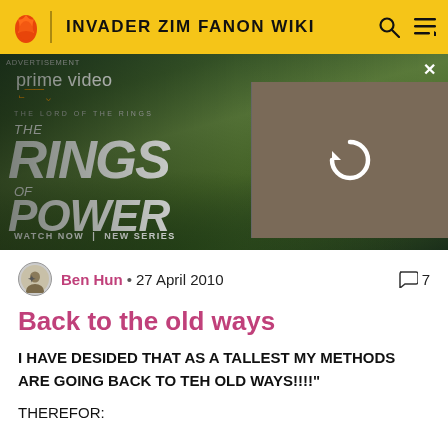INVADER ZIM FANON WIKI
[Figure (screenshot): Amazon Prime Video advertisement for The Lord of the Rings: The Rings of Power. Shows 'WATCH NOW | NEW SERIES' text. Right side has a reload/refresh icon overlay on a thumbnail.]
Ben Hun • 27 April 2010  ○ 7
Back to the old ways
I HAVE DESIDED THAT AS A TALLEST MY METHODS ARE GOING BACK TO TEH OLD WAYS!!!!"
THEREFOR: